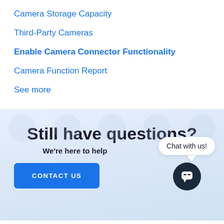Camera Storage Capacity
Third-Party Cameras
Enable Camera Connector Functionality
Camera Function Report
See more
Still have questions?
We're here to help
CONTACT US
Chat with us!